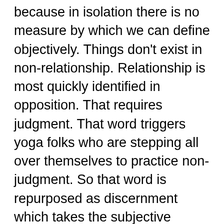because in isolation there is no measure by which we can define objectively. Things don't exist in non-relationship. Relationship is most quickly identified in opposition. That requires judgment. That word triggers yoga folks who are stepping all over themselves to practice non-judgment. So that word is repurposed as discernment which takes the subjective opinion out of the picture. That alone might take a lifetime of practice. Everything is relative. True identification takes patience. What is truth anyway? Do you know that in relation to what is false? What is false but its relationship to truth? There must be a neutral jury! What you intuit from your heart must be considered in light of what you know objectively and historically. What's outside our skin we can only